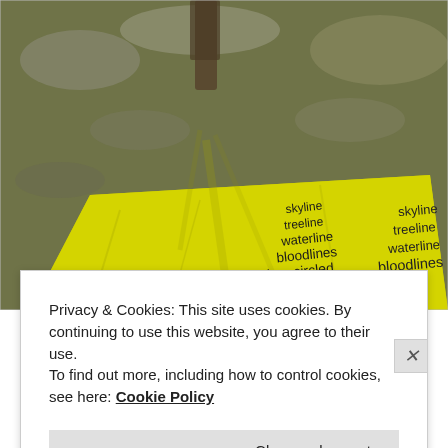[Figure (photo): A yellow fabric banner or cloth laid on rocky mossy ground with tree shadows, printed with text: 'skyline / treeline / waterline / bloodlines / time circled / inside this oak / future in the smooth / trust of ac...' The text is in a dark sans-serif font on the yellow fabric.]
Privacy & Cookies: This site uses cookies. By continuing to use this website, you agree to their use.
To find out more, including how to control cookies, see here: Cookie Policy
Close and accept